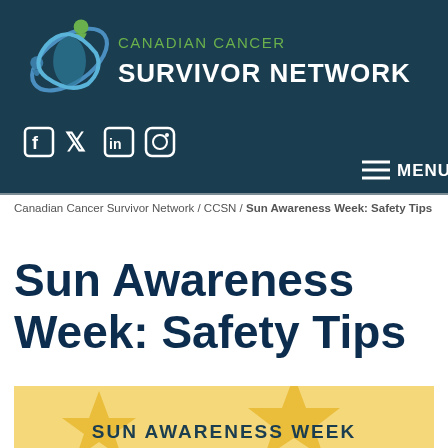[Figure (logo): Canadian Cancer Survivor Network logo with teal background, green figure icon and white/green text]
[Figure (infographic): Social media icons: Facebook, Twitter, LinkedIn, Instagram in white on teal background]
MENU
Canadian Cancer Survivor Network / CCSN / Sun Awareness Week: Safety Tips
Sun Awareness Week: Safety Tips
[Figure (illustration): Sun Awareness Week banner with yellow/gold background and star shapes, text SUN AWARENESS WEEK]